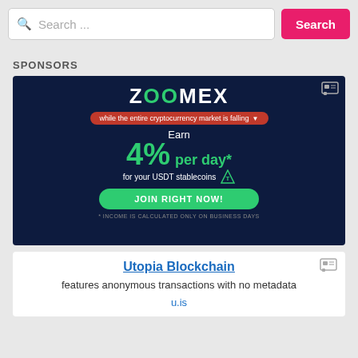Search ...
SPONSORS
[Figure (screenshot): Zoomex advertisement: dark blue background with Zoomex logo, text 'while the entire cryptocurrency market is falling', 'Earn 4% per day* for your USDT stablecoins', green JOIN RIGHT NOW button, fine print '* INCOME IS CALCULATED ONLY ON BUSINESS DAYS']
[Figure (screenshot): Utopia Blockchain advertisement: white background, link text 'Utopia Blockchain', description 'features anonymous transactions with no metadata', URL 'u.is']